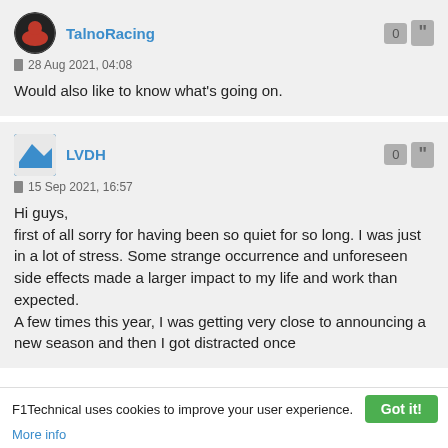TalnoRacing
28 Aug 2021, 04:08
Would also like to know what's going on.
LVDH
15 Sep 2021, 16:57
Hi guys,
first of all sorry for having been so quiet for so long. I was just in a lot of stress. Some strange occurrence and unforeseen side effects made a larger impact to my life and work than expected.
A few times this year, I was getting very close to announcing a new season and then I got distracted once
F1Technical uses cookies to improve your user experience. Got it!
More info